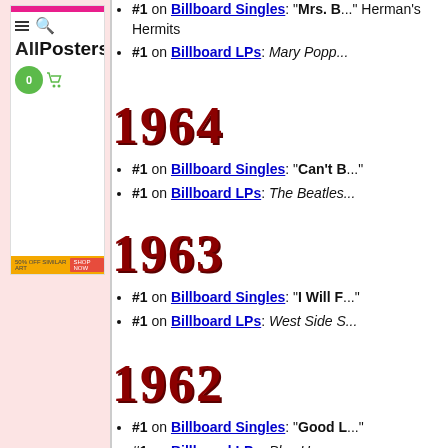[Figure (screenshot): AllPosters.com sidebar widget showing hamburger menu, search icon, AllPosters logo, green cart with 0, and bottom banner]
#1 on Billboard Singles: "Mrs. B..." Herman's Hermits
#1 on Billboard LPs: Mary Popp...
1964
#1 on Billboard Singles: "Can't B..."
#1 on Billboard LPs: The Beatles...
1963
#1 on Billboard Singles: "I Will F..."
#1 on Billboard LPs: West Side S...
1962
#1 on Billboard Singles: "Good L..."
#1 on Billboard LPs: Plus Hows...